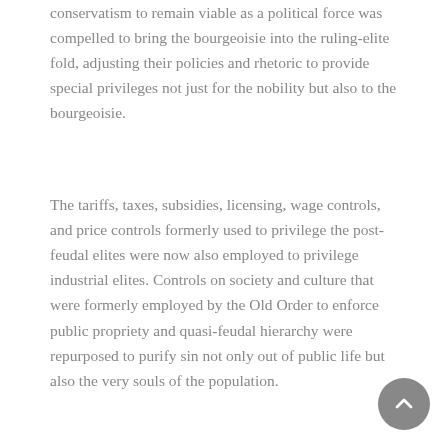conservatism to remain viable as a political force was compelled to bring the bourgeoisie into the ruling-elite fold, adjusting their policies and rhetoric to provide special privileges not just for the nobility but also to the bourgeoisie.
The tariffs, taxes, subsidies, licensing, wage controls, and price controls formerly used to privilege the post-feudal elites were now also employed to privilege industrial elites. Controls on society and culture that were formerly employed by the Old Order to enforce public propriety and quasi-feudal hierarchy were repurposed to purify sin not only out of public life but also the very souls of the population.